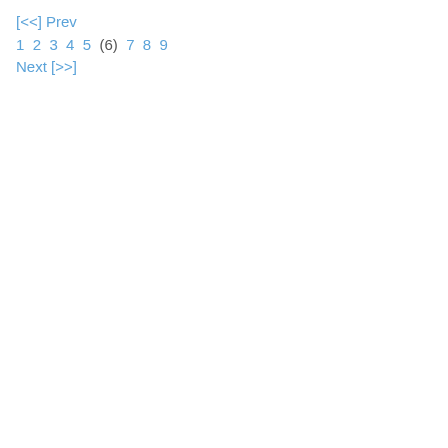[<<] Prev
1 2 3 4 5 (6) 7 8 9
Next [>>]